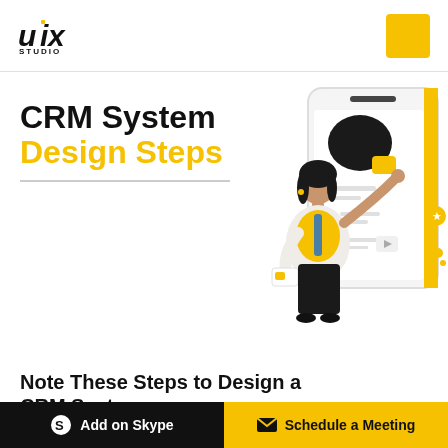[Figure (logo): UIX Studio logo with stylized 'uix' text and 'STUDIO' label, plus yellow square accent]
CRM System Design Steps
[Figure (illustration): Illustration of a woman in yellow top interacting with a large smartphone screen showing a CRM-style interface with yellow and black design elements]
Note These Steps to Design a CRM System
Add on Skype  |  Schedule a Meeting